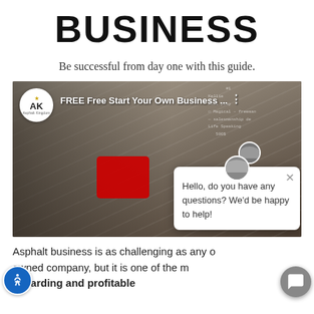BUSINESS
Be successful from day one with this guide.
[Figure (screenshot): Screenshot of a video player showing 'FREE Free Start Your Own Business ...' from Asphalt Kingdom channel. A man in a black cap is pointing at the camera with a red object in front of him. A chat popup overlay reads 'Hello, do you have any questions? We'd be happy to help!' with a close (X) button.]
Asphalt business is as challenging as any owned company, but it is one of the most rewarding and profitable